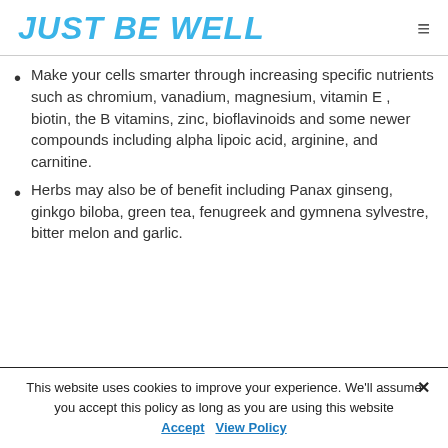JUST BE WELL
Make your cells smarter through increasing specific nutrients such as chromium, vanadium, magnesium, vitamin E , biotin, the B vitamins, zinc, bioflavinoids and some newer compounds including alpha lipoic acid, arginine, and carnitine.
Herbs may also be of benefit including Panax ginseng, ginkgo biloba, green tea, fenugreek and gymnena sylvestre, bitter melon and garlic.
This website uses cookies to improve your experience. We'll assume you accept this policy as long as you are using this website  Accept   View Policy